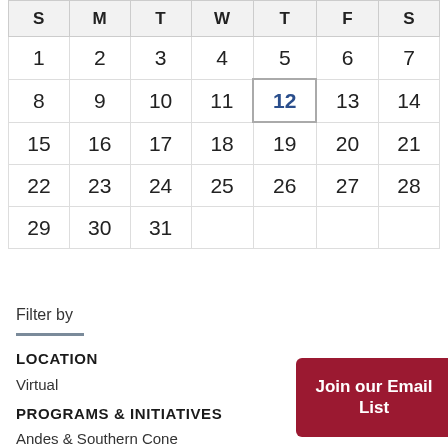| S | M | T | W | T | F | S |
| --- | --- | --- | --- | --- | --- | --- |
| 1 | 2 | 3 | 4 | 5 | 6 | 7 |
| 8 | 9 | 10 | 11 | 12 | 13 | 14 |
| 15 | 16 | 17 | 18 | 19 | 20 | 21 |
| 22 | 23 | 24 | 25 | 26 | 27 | 28 |
| 29 | 30 | 31 |  |  |  |  |
Filter by
LOCATION
Virtual
PROGRAMS & INITIATIVES
Andes & Southern Cone
Join our Email List